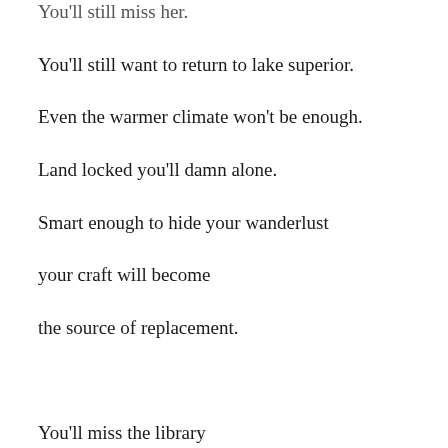You'll still miss her.
You'll still want to return to lake superior.
Even the warmer climate won't be enough.
Land locked you'll damn alone.
Smart enough to hide your wanderlust
your craft will become
the source of replacement.
You'll miss the library